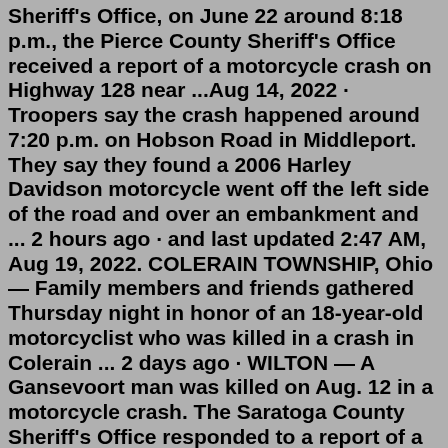Sheriff's Office, on June 22 around 8:18 p.m., the Pierce County Sheriff's Office received a report of a motorcycle crash on Highway 128 near ...Aug 14, 2022 · Troopers say the crash happened around 7:20 p.m. on Hobson Road in Middleport. They say they found a 2006 Harley Davidson motorcycle went off the left side of the road and over an embankment and ... 2 hours ago · and last updated 2:47 AM, Aug 19, 2022. COLERAIN TOWNSHIP, Ohio — Family members and friends gathered Thursday night in honor of an 18-year-old motorcyclist who was killed in a crash in Colerain ... 2 days ago · WILTON — A Gansevoort man was killed on Aug. 12 in a motorcycle crash. The Saratoga County Sheriff's Office responded to a report of a crash involving a car and motorcycle on state Route 9 in ... SAN DIEGO, CA (August 12, 2022) - A motorcycle accident on University Avenue resulted in serious injuries Tuesday afternoon, police said. The collision happened east of Euclid Avenue around 3:30 ... buzzfeed cancer zodiac quiz GODDARD, Kan. (KAKE) - A man has been